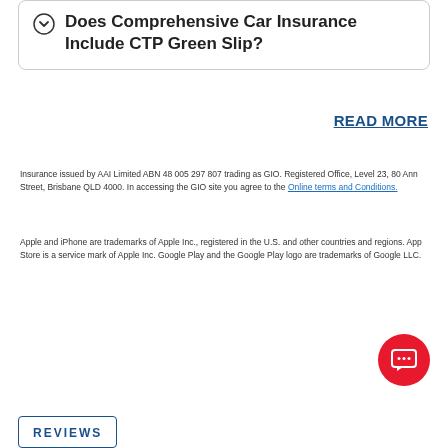Does Comprehensive Car Insurance Include CTP Green Slip?
READ MORE
Insurance issued by AAI Limited ABN 48 005 297 807 trading as GIO. Registered Office, Level 23, 80 Ann Street, Brisbane QLD 4000. In accessing the GIO site you agree to the Online terms and Conditions.
Apple and iPhone are trademarks of Apple Inc., registered in the U.S. and other countries and regions. App Store is a service mark of Apple Inc. Google Play and the Google Play logo are trademarks of Google LLC.
[Figure (illustration): Red circular chat button with speech bubble icon containing three dots]
REVIEWS